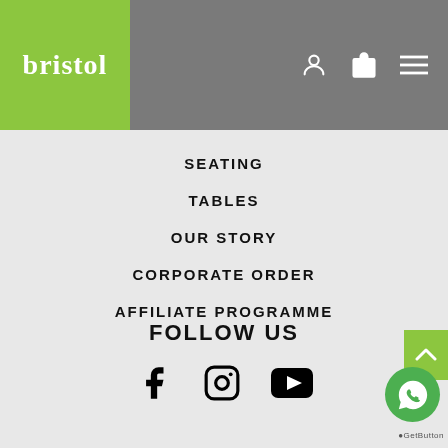[Figure (logo): Bristol brand logo: white text 'bristol' on green square background, placed in grey header bar]
[Figure (other): Header navigation icons: user/account icon, shopping bag icon, and hamburger menu icon in white on grey background]
SEATING
TABLES
OUR STORY
CORPORATE ORDER
AFFILIATE PROGRAMME
FOLLOW US
[Figure (other): Social media icons: Facebook, Instagram, YouTube in black]
[Figure (other): Green scroll-to-top arrow button on right edge]
[Figure (other): Green circular WhatsApp chat button with WhatsApp logo]
GetButton